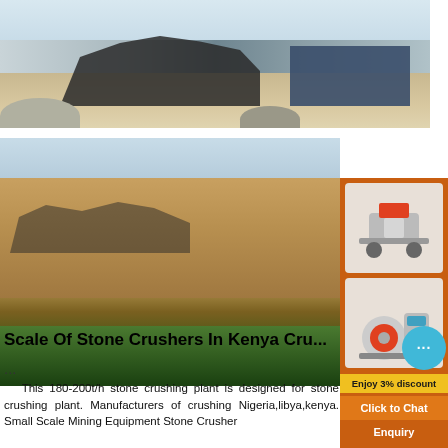[Figure (photo): Outdoor stone crushing plant facility with machinery, conveyor belts and industrial building in the background on a dusty site]
[Figure (photo): Open-pit quarry / stone crushing site with sandy terrain, machinery visible, green water at the bottom]
[Figure (photo): Advertisement sidebar showing crushing/milling equipment images with orange background, 3% discount offer and Click to Chat button]
Scale Of Stone Crushers In Kenya Cru...
...
This 180-200t/h stone crushing plant is designed for stone crushing plant. Manufacturers of crushing Nigeria,libya,kenya. Small Scale Mining Equipment Stone Crusher